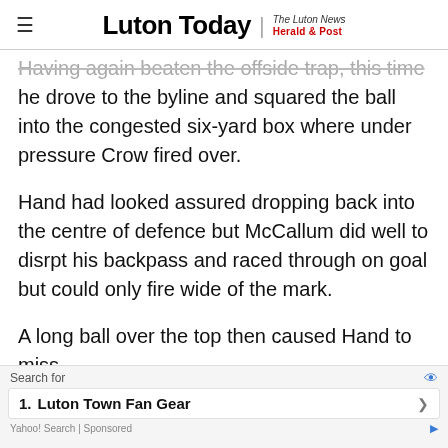Luton Today | The Luton News Herald & Post
Having again beaten the offside trap, this time he drove to the byline and squared the ball into the congested six-yard box where under pressure Crow fired over.
Hand had looked assured dropping back into the centre of defence but McCallum did well to disrpt his backpass and raced through on goal but could only fire wide of the mark.
A long ball over the top then caused Hand to miss [...]
Search for
1. Luton Town Fan Gear
Yahoo! Search | Sponsored